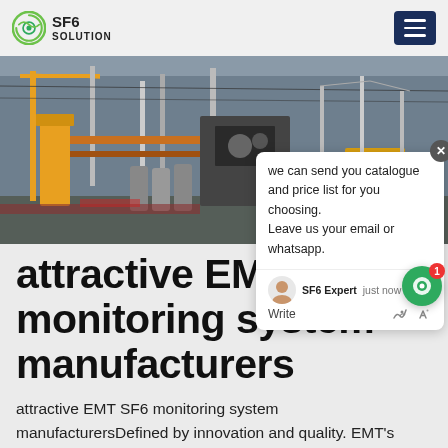SF6 SOLUTION
[Figure (photo): Industrial site with cranes, yellow construction vehicles, gas cylinders, and large equipment.]
attractive EMT SF6 monitoring system manufacturers
attractive EMT SF6 monitoring system manufacturersDefined by innovation and quality. EMT's mission is to re-think, re-define and revolutionise SF6 analysis and handling